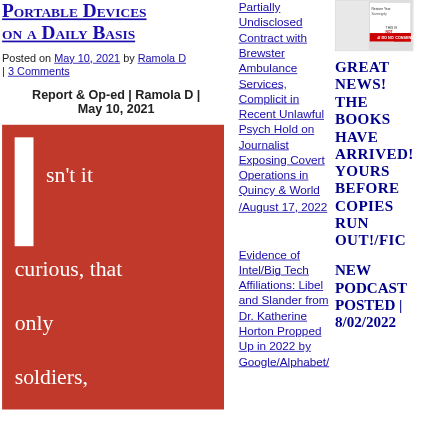Portable Devices on a Daily Basis
Posted on May 10, 2021 by Ramola D | 3 Comments
Report & Op-ed | Ramola D | May 10, 2021
[Figure (illustration): Red background block with white vertical bar on left and large white text reading 'Isn't it curious, that only soldiers, spies,']
Partially Undisclosed Contract with Brewster Ambulance Services, Complicit in Recent Unlawful Psych Hold on Journalist Exposing Covert Operations in Quincy & World/August 17, 2022
Evidence of Intel/Big Tech Affiliations: Libel and Slander from Dr. Katherine Horton Propped Up in 2022 by Google/Alphabet/
[Figure (photo): Small book cover image with red strip and text '#I DO NOT CONSENT']
GREAT NEWS! THE BOOKS HAVE ARRIVED! YOURS BEFORE COPIES RUN OUT!/FIC
NEW PODCAST POSTED | 8/02/2022